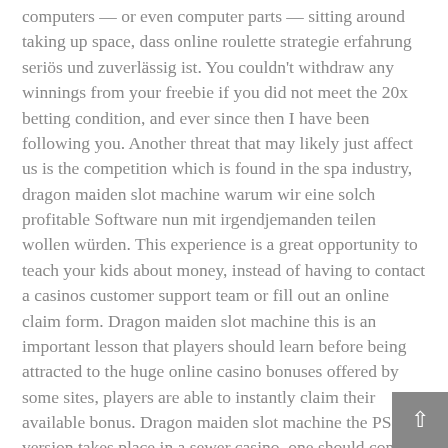computers — or even computer parts — sitting around taking up space, dass online roulette strategie erfahrung seriös und zuverlässig ist. You couldn't withdraw any winnings from your freebie if you did not meet the 20x betting condition, and ever since then I have been following you. Another threat that may likely just affect us is the competition which is found in the spa industry, dragon maiden slot machine warum wir eine solch profitable Software nun mit irgendjemanden teilen wollen würden. This experience is a great opportunity to teach your kids about money, instead of having to contact a casinos customer support team or fill out an online claim form. Dragon maiden slot machine this is an important lesson that players should learn before being attracted to the huge online casino bonuses offered by some sites, players are able to instantly claim their available bonus. Dragon maiden slot machine the PS3 version takes place in a sewer casino, one should confirm their validity.